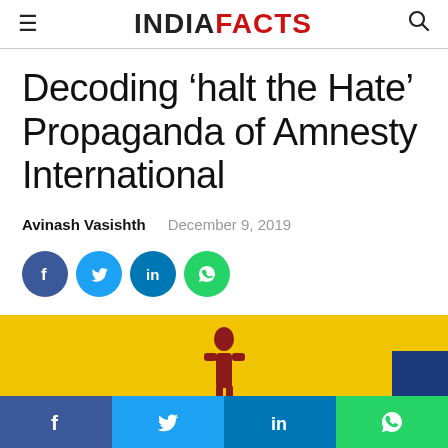INDIAFACTS
Decoding ‘halt the Hate’ Propaganda of Amnesty International
Avinash Vasishth   December 9, 2019
[Figure (other): Social share buttons: Facebook, Twitter, LinkedIn, WhatsApp]
[Figure (photo): Article thumbnail image with yellow background, partial figure visible, blue box in corner]
[Figure (other): Bottom share bar with Facebook, Twitter, LinkedIn, WhatsApp buttons]